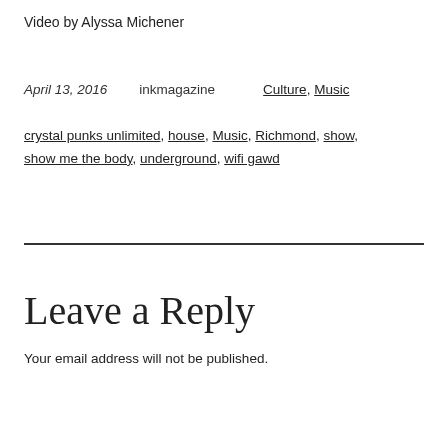Video by Alyssa Michener
April 13, 2016    inkmagazine    Culture, Music
crystal punks unlimited, house, Music, Richmond, show, show me the body, underground, wifi gawd
Leave a Reply
Your email address will not be published.